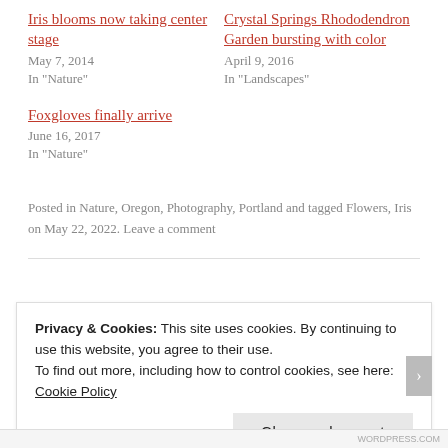Iris blooms now taking center stage
May 7, 2014
In "Nature"
Crystal Springs Rhododendron Garden bursting with color
April 9, 2016
In "Landscapes"
Foxgloves finally arrive
June 16, 2017
In "Nature"
Posted in Nature, Oregon, Photography, Portland and tagged Flowers, Iris on May 22, 2022. Leave a comment
Privacy & Cookies: This site uses cookies. By continuing to use this website, you agree to their use.
To find out more, including how to control cookies, see here: Cookie Policy
Close and accept